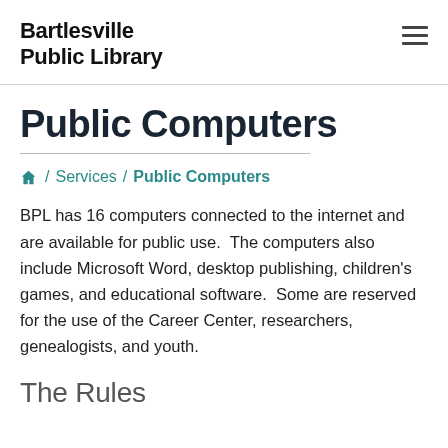Bartlesville Public Library
Public Computers
⌂ / Services / Public Computers
BPL has 16 computers connected to the internet and are available for public use.  The computers also include Microsoft Word, desktop publishing, children's games, and educational software.  Some are reserved for the use of the Career Center, researchers, genealogists, and youth.
The Rules